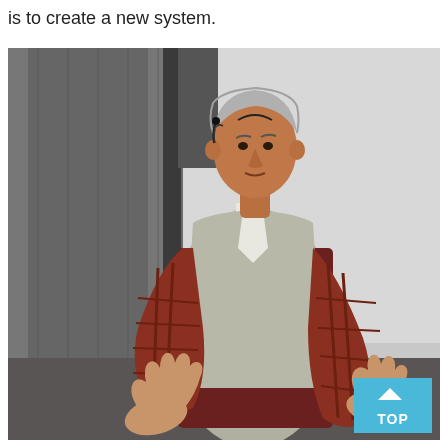is to create a new system.
[Figure (photo): A man with grey hair wearing a light grey vest over a red plaid shirt, with a headset microphone, gesturing with both hands open in front of a projection screen and concrete pillar background. A blue 'TOP' button overlay is in the bottom-right corner of the image.]